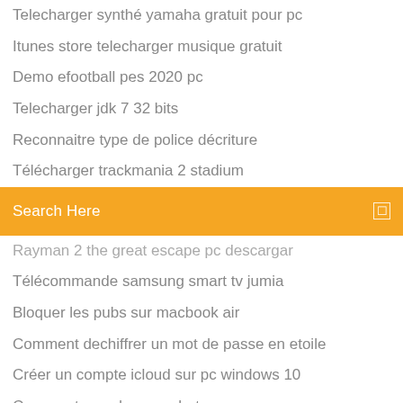Telecharger synthé yamaha gratuit pour pc
Itunes store telecharger musique gratuit
Demo efootball pes 2020 pc
Telecharger jdk 7 32 bits
Reconnaitre type de police décriture
Télécharger trackmania 2 stadium
[Figure (screenshot): Orange/yellow search bar with 'Search Here' placeholder text and a search icon on the right]
Rayman 2 the great escape pc descargar
Télécommande samsung smart tv jumia
Bloquer les pubs sur macbook air
Comment dechiffrer un mot de passe en etoile
Créer un compte icloud sur pc windows 10
Comment prendre une photo avec mac pro
Logiciel recuperation mot de passe gmail
Need for speed most wanted 2019 soundtrack
Pole emplois mon espace personnel
Kaspersky internet security latest version - 1 pc 1 year
Mise à jour de java sous windows 10